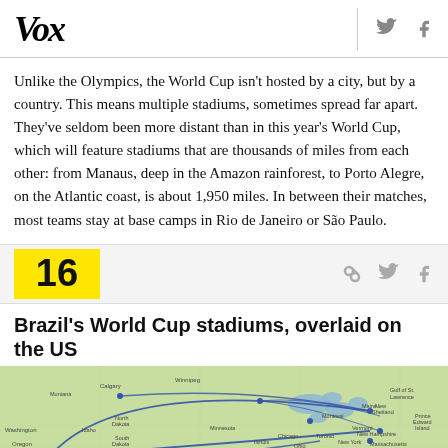Vox
Unlike the Olympics, the World Cup isn't hosted by a city, but by a country. This means multiple stadiums, sometimes spread far apart. They've seldom been more distant than in this year's World Cup, which will feature stadiums that are thousands of miles from each other: from Manaus, deep in the Amazon rainforest, to Porto Alegre, on the Atlantic coast, is about 1,950 miles. In between their matches, most teams stay at base camps in Rio de Janeiro or São Paulo.
16
Brazil's World Cup stadiums, overlaid on the US
[Figure (map): Map of the United States with Brazil's World Cup stadium locations overlaid, showing lines connecting stadium cities including Vancouver area on the west, through the Midwest, to the East Coast, illustrating the geographic spread.]